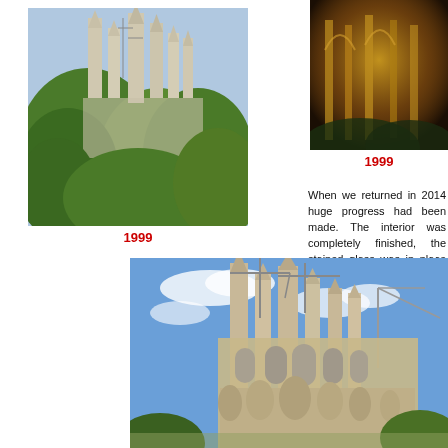[Figure (photo): Exterior view of Sagrada Familia cathedral with spires and trees in foreground, 1999]
1999
[Figure (photo): Interior view of Sagrada Familia, golden-lit, 1999]
1999
When we returned in 2014 huge progress had been made. The interior was completely finished, the stained glass was in place and those amazing architectural elements, unmistakable
[Figure (photo): Exterior view of Sagrada Familia under construction with cranes, 2014]